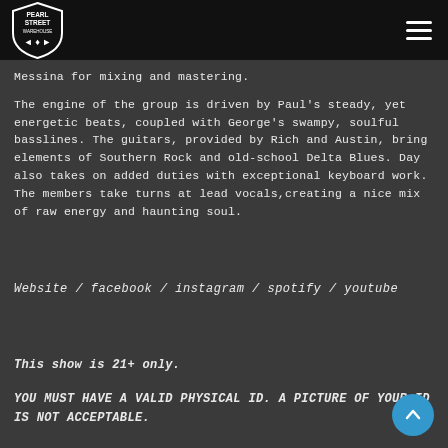[Figure (logo): Pearl Street Warehouse logo — shield/pick shape with text PEARL STREET WAREHOUSE and musical note icons]
Messina for mixing and mastering.
The engine of the group is driven by Paul's steady, yet energetic beats, coupled with George's swampy, soulful basslines.  The guitars, provided by Rich and Austin, bring elements of Southern Rock and old-school Delta Blues.  Day also takes on added duties with exceptional keyboard work.   The members take turns at lead vocals,creating a nice mix of raw energy and haunting soul.
Website / facebook / instagram / spotify / youtube
This show is 21+ only.
YOU MUST HAVE A VALID PHYSICAL ID.  A PICTURE OF YOUR ID IS NOT ACCEPTABLE.